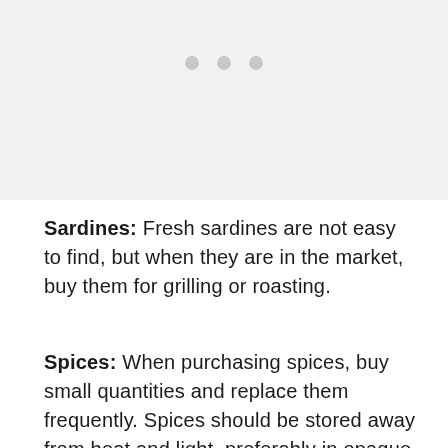[Figure (other): Light gray area with three small gray dots arranged horizontally near the top center, representing a loading or image placeholder region.]
Sardines: Fresh sardines are not easy to find, but when they are in the market, buy them for grilling or roasting.
Spices: When purchasing spices, buy small quantities and replace them frequently. Spices should be stored away from heat and light, preferably in opaque containers.